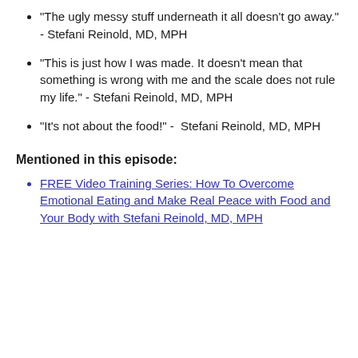“The ugly messy stuff underneath it all doesn’t go away.” - Stefani Reinold, MD, MPH
“This is just how I was made. It doesn't mean that something is wrong with me and the scale does not rule my life.” - Stefani Reinold, MD, MPH
“It’s not about the food!” -  Stefani Reinold, MD, MPH
Mentioned in this episode:
FREE Video Training Series: How To Overcome Emotional Eating and Make Real Peace with Food and Your Body with Stefani Reinold, MD, MPH